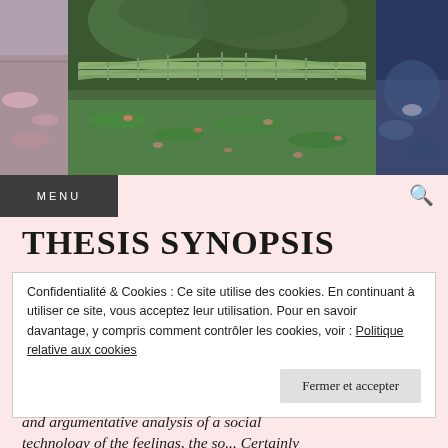[Figure (photo): Header collage of three Monet paintings side by side: left panel shows water lilies with pink and green tones, center panel shows the Japanese bridge at Giverny with green bridge and water lilies below, right panel shows water lilies in blue/purple tones.]
MENU
THESIS SYNOPSIS
Confidentialité & Cookies : Ce site utilise des cookies. En continuant à utiliser ce site, vous acceptez leur utilisation. Pour en savoir davantage, y compris comment contrôler les cookies, voir : Politique relative aux cookies
Fermer et accepter
and argumentative analysis of a social technology of the feelings, the so... Certainly